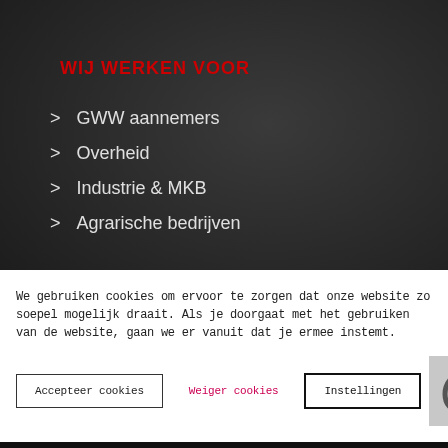WIJ WERKEN VOOR
GWW aannemers
Overheid
Industrie & MKB
Agrarische bedrijven
Asfalt repareren
Asfalt onderhoud
Slijtlaag
Bitu…
We gebruiken cookies om ervoor te zorgen dat onze website zo soepel mogelijk draait. Als je doorgaat met het gebruiken van de website, gaan we er vanuit dat je ermee instemt.
Accepteer cookies | Weiger cookies | Instellingen